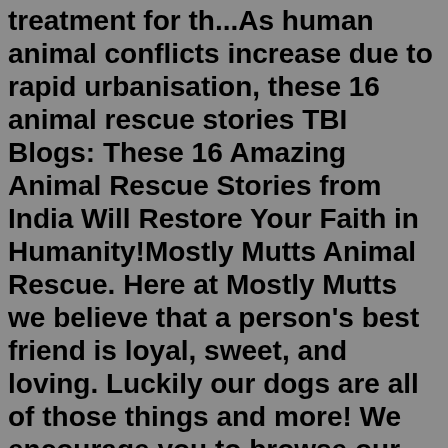treatment for th...As human animal conflicts increase due to rapid urbanisation, these 16 animal rescue stories TBI Blogs: These 16 Amazing Animal Rescue Stories from India Will Restore Your Faith in Humanity!Mostly Mutts Animal Rescue. Here at Mostly Mutts we believe that a person's best friend is loyal, sweet, and loving. Luckily our dogs are all of those things and more! We encourage you to browse our website to learn about our dogs, our local rescue, and our founders! We are located in Camas, WA and we serve all of Clark County and the Portland ...Lucky Paws Rescue is a non-profit 501c3 organization in Western Washington State. We are small but mighty! We will try to help any animal in need, but we are especially passionate about the underdogs that are overlooked because of their breed or health issues. We give 100% to any animal we commit to. Funding and foster homes are always needed ... Visit BBC News for up-to-the-minute news, breaking news, video, audio and feature stories. BBC News provides trusted World and UK news as well as